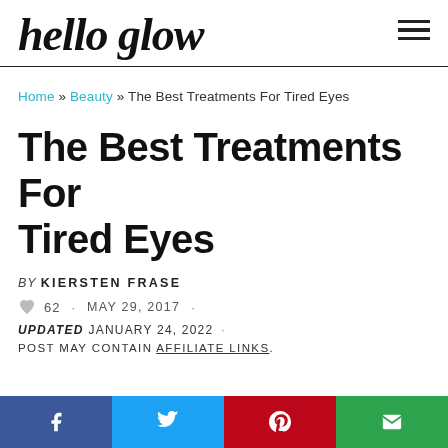hello glow
Home » Beauty » The Best Treatments For Tired Eyes
The Best Treatments For Tired Eyes
BY KIERSTEN FRASE
62 · MAY 29, 2017 ·
UPDATED JANUARY 24, 2022 · POST MAY CONTAIN AFFILIATE LINKS.